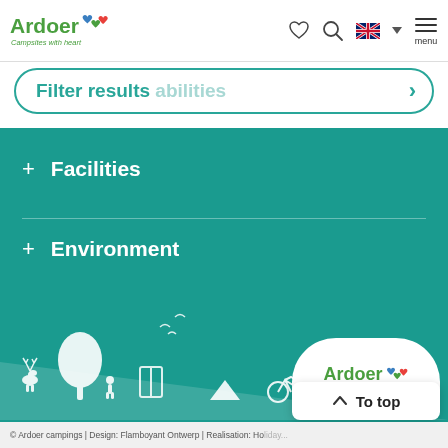[Figure (logo): Ardoer logo with colorful hearts and tagline 'Campsites with heart']
[Figure (screenshot): Header navigation icons: heart/favorite, search magnifier, UK flag language selector with dropdown, hamburger menu labeled 'menu']
Filter results  abilities
+ Facilities
+ Environment
[Figure (illustration): White silhouette decorative illustration on teal background showing deer, trees, birds, tent, bicycle, caravan, and camping scene]
[Figure (logo): Ardoer logo on white cloud shape at bottom right: 'Ardoer - Campsites with heart' with colorful hearts]
[Figure (other): To top button with upward chevron arrow]
© Ardoer campings | Design: Flamboyant Ontwerp | Realisation: Ho...